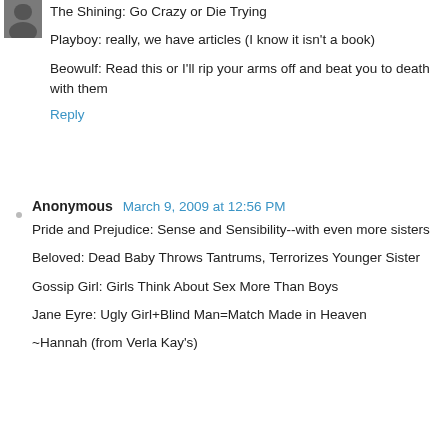[Figure (photo): Small avatar thumbnail photo in upper left]
The Shining: Go Crazy or Die Trying
Playboy: really, we have articles (I know it isn't a book)
Beowulf: Read this or I'll rip your arms off and beat you to death with them
Reply
Anonymous  March 9, 2009 at 12:56 PM
Pride and Prejudice: Sense and Sensibility--with even more sisters
Beloved: Dead Baby Throws Tantrums, Terrorizes Younger Sister
Gossip Girl: Girls Think About Sex More Than Boys
Jane Eyre: Ugly Girl+Blind Man=Match Made in Heaven
~Hannah (from Verla Kay's)